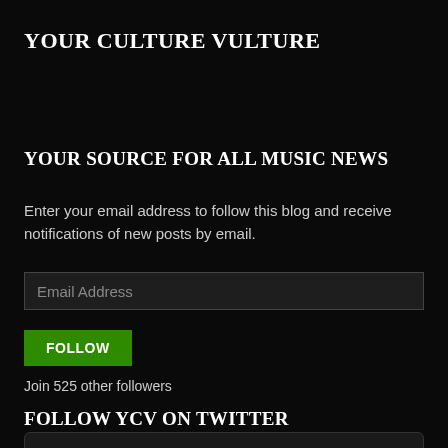YOUR CULTURE VULTURE
YOUR SOURCE FOR ALL MUSIC NEWS
Enter your email address to follow this blog and receive notifications of new posts by email.
Email Address
FOLLOW
Join 525 other followers
FOLLOW YCV ON TWITTER